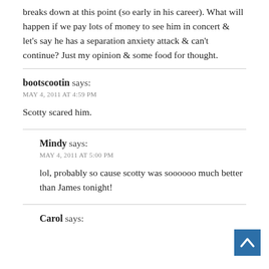breaks down at this point (so early in his career). What will happen if we pay lots of money to see him in concert & let's say he has a separation anxiety attack & can't continue? Just my opinion & some food for thought.
bootscootin says:
MAY 4, 2011 AT 4:59 PM

Scotty scared him.
Mindy says:
MAY 4, 2011 AT 5:00 PM

lol, probably so cause scotty was soooooo much better than James tonight!
Carol says: